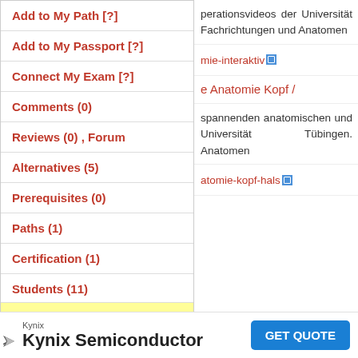Add to My Path [?]
Add to My Passport [?]
Connect My Exam [?]
Comments (0)
Reviews (0) , Forum
Alternatives (5)
Prerequisites (0)
Paths (1)
Certification (1)
Students (11)
operationsvideos der Universität Fachrichtungen und Anatomen
mie-interaktiv
e Anatomie Kopf /
spannenden anatomischen und Universität Tübingen. Anatomen
atomie-kopf-hals
Kynix
Kynix Semiconductor
GET QUOTE